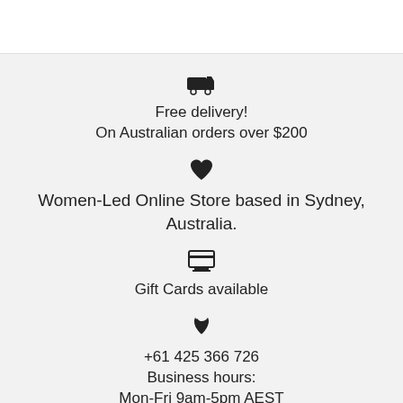Free delivery! On Australian orders over $200
Women-Led Online Store based in Sydney, Australia.
Gift Cards available
+61 425 366 726
Business hours:
Mon-Fri 9am-5pm AEST